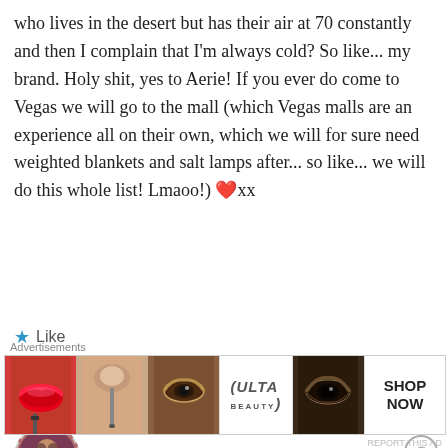who lives in the desert but has their air at 70 constantly and then I complain that I'm always cold? So like... my brand. Holy shit, yes to Aerie! If you ever do come to Vegas we will go to the mall (which Vegas malls are an experience all on their own, which we will for sure need weighted blankets and salt lamps after... so like... we will do this whole list! Lmaoo!) ❤️xx
★ Like
Reply
Madalyn @ Novel Ink
[Figure (infographic): Advertisement banner for ULTA Beauty showing makeup imagery including lips, brush, eyes, ULTA logo, and SHOP NOW button]